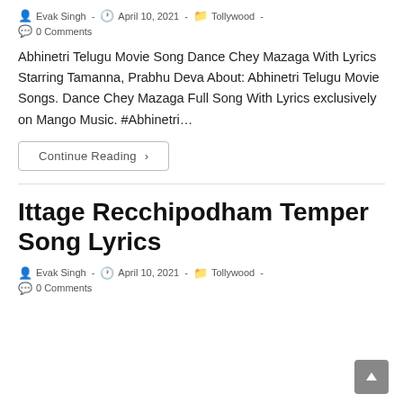Post author: Evak Singh - Post date: April 10, 2021 - Post category: Tollywood -
0 Comments
Abhinetri Telugu Movie Song Dance Chey Mazaga With Lyrics Starring Tamanna, Prabhu Deva About: Abhinetri Telugu Movie Songs. Dance Chey Mazaga Full Song With Lyrics exclusively on Mango Music. #Abhinetri…
Continue Reading ›
Ittage Recchipodham Temper Song Lyrics
Post author: Evak Singh - Post date: April 10, 2021 - Post category: Tollywood -
0 Comments